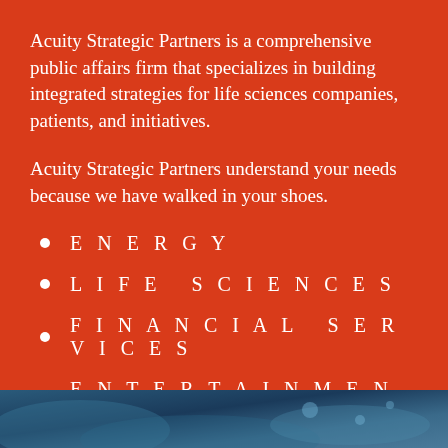Acuity Strategic Partners is a comprehensive public affairs firm that specializes in building integrated strategies for life sciences companies, patients, and initiatives.
Acuity Strategic Partners understand your needs because we have walked in your shoes.
ENERGY
LIFE SCIENCES
FINANCIAL SERVICES
ENTERTAINMENT
[Figure (photo): Blue decorative background image at the bottom of the page, appearing to show a blurred technology or abstract scene.]